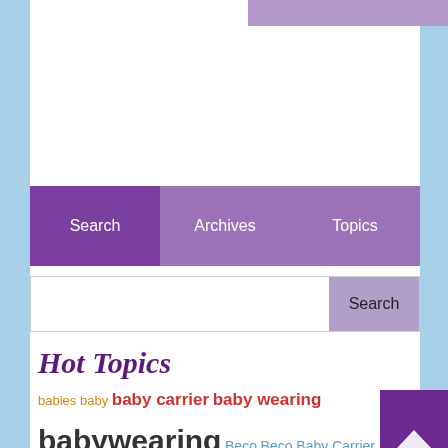[Figure (screenshot): Navigation bar with Search (dark purple), Archives (lighter purple), Topics (lighter purple) tabs]
[Figure (screenshot): Search input box with Search button on the right]
Hot Topics
babies baby baby carrier baby wearing babywearing Beco Beco Baby Carrier Beco Baby Carriers Beco Butterfly II Beco Gemini breastfeeding exclusive FFS free free friday friends Girasol giveaway love BAXbaby...